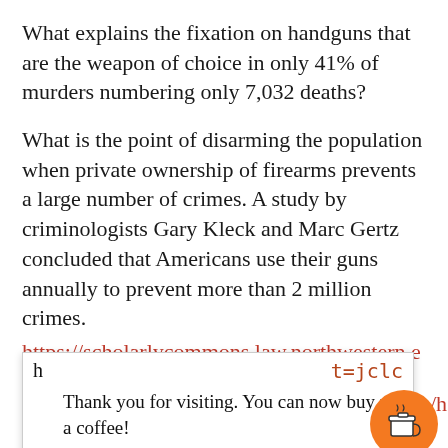What explains the fixation on handguns that are the weapon of choice in only 41% of murders numbering only 7,032 deaths?
What is the point of disarming the population when private ownership of firearms prevents a large number of crimes. A study by criminologists Gary Kleck and Marc Gertz concluded that Americans use their guns annually to prevent more than 2 million crimes.
https://scholarlycommons.law.northwestern.edu/cgi/viewcontent.cgi?
Thank you for visiting. You can now buy me a coffee!
t=jclc
uc
https://www.investors.com/politics/columnists/how